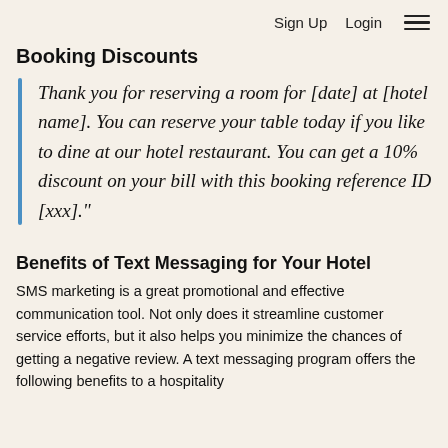Sign Up   Login  ☰
Booking Discounts
Thank you for reserving a room for [date] at [hotel name]. You can reserve your table today if you like to dine at our hotel restaurant. You can get a 10% discount on your bill with this booking reference ID [xxx]."
Benefits of Text Messaging for Your Hotel
SMS marketing is a great promotional and effective communication tool. Not only does it streamline customer service efforts, but it also helps you minimize the chances of getting a negative review. A text messaging program offers the following benefits to a hospitality